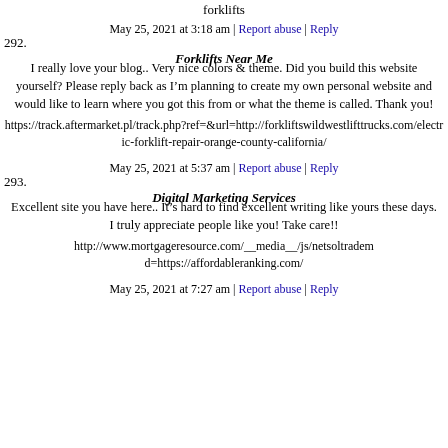forklifts
May 25, 2021 at 3:18 am | Report abuse | Reply
292. Forklifts Near Me
I really love your blog.. Very nice colors & theme. Did you build this website yourself? Please reply back as I'm planning to create my own personal website and would like to learn where you got this from or what the theme is called. Thank you!
https://track.aftermarket.pl/track.php?ref=&url=http://forkliftswildwestlifttrucks.com/electric-forklift-repair-orange-county-california/
May 25, 2021 at 5:37 am | Report abuse | Reply
293. Digital Marketing Services
Excellent site you have here.. It's hard to find excellent writing like yours these days. I truly appreciate people like you! Take care!!
http://www.mortgageresource.com/__media__/js/netsoltrademark.php?d=https://affordableranking.com/
May 25, 2021 at 7:27 am | Report abuse | Reply